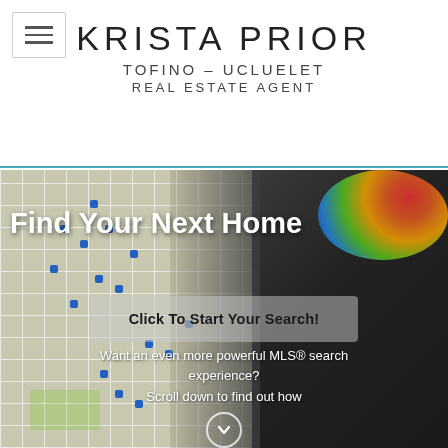KRISTA PRIOR
TOFINO – UCLUELET
REAL ESTATE AGENT
[Figure (screenshot): Hero image of a laptop screen showing an MLS map search tool with blue property pins on a street map. The right side shows a dark blurred background with colorful bokeh lights. Overlaid text reads 'Find Your Next Home' and a button 'Click To Start Your Search!' with subtext 'Want an even more powerful MLS® search experience? Scroll down to find out how']
Find Your Next Home
Click To Start Your Search!
Want an even more powerful MLS® search experience?
Scroll down to find out how